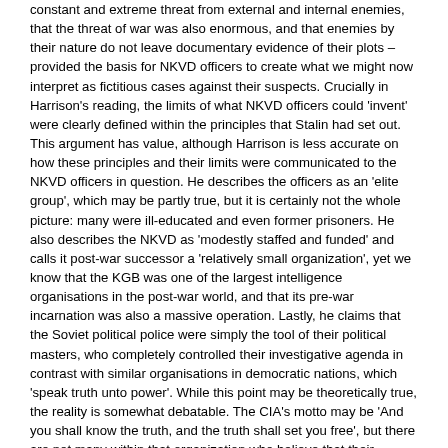constant and extreme threat from external and internal enemies, that the threat of war was also enormous, and that enemies by their nature do not leave documentary evidence of their plots – provided the basis for NKVD officers to create what we might now interpret as fictitious cases against their suspects. Crucially in Harrison's reading, the limits of what NKVD officers could 'invent' were clearly defined within the principles that Stalin had set out. This argument has value, although Harrison is less accurate on how these principles and their limits were communicated to the NKVD officers in question. He describes the officers as an 'elite group', which may be partly true, but it is certainly not the whole picture: many were ill-educated and even former prisoners. He also describes the NKVD as 'modestly staffed and funded' and calls it post-war successor a 'relatively small organization', yet we know that the KGB was one of the largest intelligence organisations in the post-war world, and that its pre-war incarnation was also a massive operation. Lastly, he claims that the Soviet political police were simply the tool of their political masters, who completely controlled their investigative agenda in contrast with similar organisations in democratic nations, which 'speak truth unto power'. While this point may be theoretically true, the reality is somewhat debatable. The CIA's motto may be 'And you shall know the truth, and the truth shall set you free', but there are not many within that organization who believe that their investigations are completely